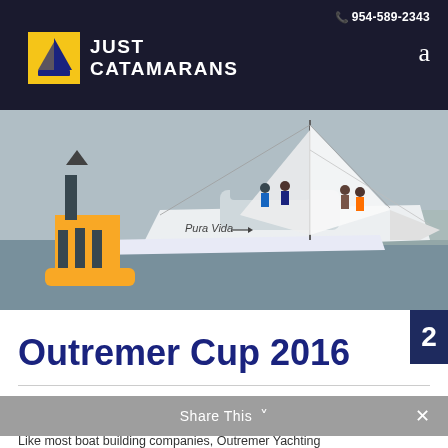📞 954-589-2343
[Figure (logo): Just Catamarans logo with yellow and blue sailboat icon and white text reading JUST CATAMARANS]
[Figure (photo): A white catamaran sailing boat named 'Pura Vida' on the water with crew members on deck and a yellow buoy/marker in the foreground]
Outremer Cup 2016
Like most boat building companies, Outremer Yachting